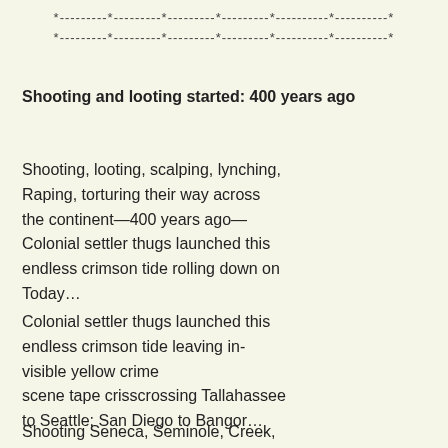*---------*---------*---------*---------*----------*----------*
*---------*---------*---------*---------*----------*----------*
Shooting and looting started: 400 years ago
Shooting, looting, scalping, lynching,
Raping, torturing their way across
the continent—400 years ago—
Colonial settler thugs launched this
endless crimson tide rolling down on
Today…
Colonial settler thugs launched this
endless crimson tide leaving in-
visible yellow crime
scene tape crisscrossing Tallahassee
to Seattle; San Diego to Bangor…
Shooting Seneca, Seminole, Creek,